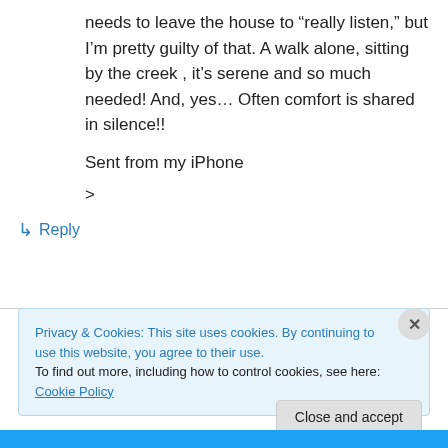needs to leave the house to “really listen,” but I’m pretty guilty of that. A walk alone, sitting by the creek , it’s serene and so much needed! And, yes… Often comfort is shared in silence!!
Sent from my iPhone
>
↳ Reply
Privacy & Cookies: This site uses cookies. By continuing to use this website, you agree to their use.
To find out more, including how to control cookies, see here: Cookie Policy
Close and accept